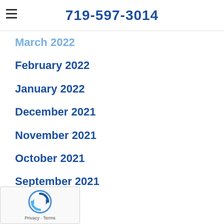719-597-3014
March 2022
February 2022
January 2022
December 2021
November 2021
October 2021
September 2021
August 2021
July 2021
June 2021
May 2021
April 2021
March 2021
February 2021